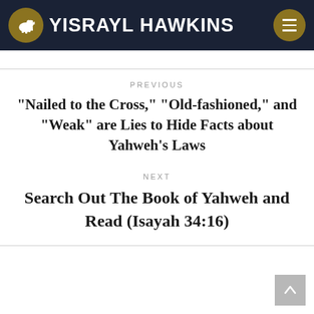YISRAYL HAWKINS
PREVIOUS
“Nailed to the Cross,” “Old-fashioned,” and “Weak” are Lies to Hide Facts about Yahweh’s Laws
NEXT
Search Out The Book of Yahweh and Read (Isayah 34:16)